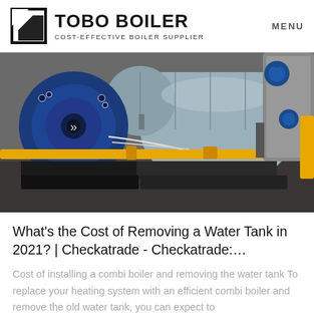TOBO BOILER — COST-EFFECTIVE BOILER SUPPLIER | MENU
[Figure (photo): Industrial boiler room showing large blue cylindrical boiler with burner assembly on the left, silver/grey main boiler drum in the center, and yellow gas pipes running horizontally in the foreground. Blue control valves and grey ductwork visible on the right side.]
What's the Cost of Removing a Water Tank in 2021? | Checkatrade - Checkatrade:…
Cost of installing a combi boiler and removing the water tank To replace your heating system with an efficient combi boiler and remove the old water tank, you can expect to